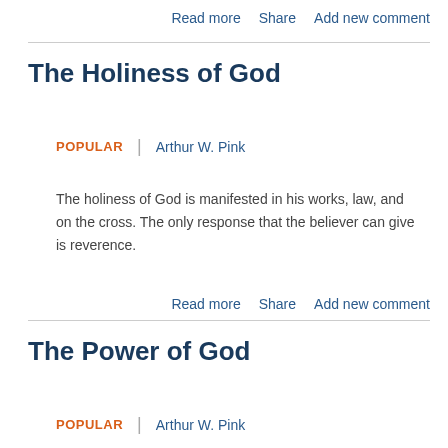Read more   Share   Add new comment
The Holiness of God
POPULAR   |   Arthur W. Pink
The holiness of God is manifested in his works, law, and on the cross. The only response that the believer can give is reverence.
Read more   Share   Add new comment
The Power of God
POPULAR   |   Arthur W. Pink